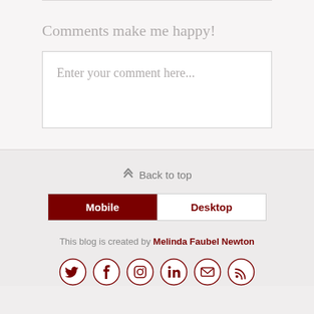Comments make me happy!
Enter your comment here...
⋀ Back to top
[Figure (other): Mobile/Desktop toggle bar with Mobile selected (dark red) and Desktop unselected (white)]
This blog is created by Melinda Faubel Newton
[Figure (other): Row of 6 social media icons in circles: Twitter, Facebook, Instagram, LinkedIn, Email, RSS]